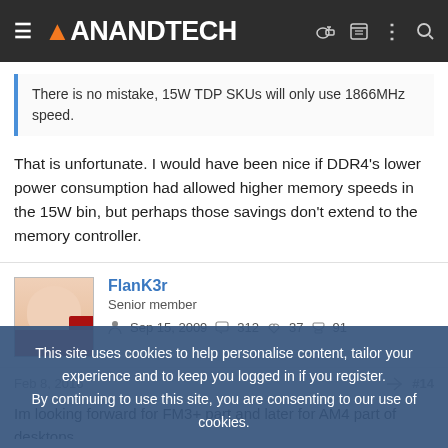AnandTech
There is no mistake, 15W TDP SKUs will only use 1866MHz speed.
That is unfortunate. I would have been nice if DDR4's lower power consumption had allowed higher memory speeds in the 15W bin, but perhaps those savings don't extend to the memory controller.
FlanK3r
Senior member
Sep 15, 2009   312   37   91
Feb 8, 2016  #14
Im looking forward for FM3+ part and later for AM4 part of desktops
This site uses cookies to help personalise content, tailor your experience and to keep you logged in if you register.
By continuing to use this site, you are consenting to our use of cookies.